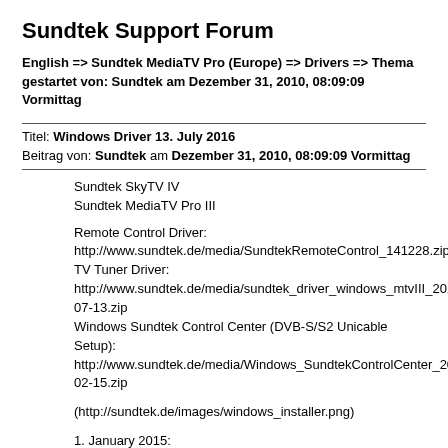Sundtek Support Forum
English => Sundtek MediaTV Pro (Europe) => Drivers => Thema gestartet von: Sundtek am Dezember 31, 2010, 08:09:09 Vormittag
Titel: Windows Driver 13. July 2016
Beitrag von: Sundtek am Dezember 31, 2010, 08:09:09 Vormittag
Sundtek SkyTV IV
Sundtek MediaTV Pro III

Remote Control Driver:
http://www.sundtek.de/media/SundtekRemoteControl_141228.zip
TV Tuner Driver:
http://www.sundtek.de/media/sundtek_driver_windows_mtvIII_2016-07-13.zip
Windows Sundtek Control Center (DVB-S/S2 Unicable Setup):
http://www.sundtek.de/media/Windows_SundtekControlCenter_2015-02-15.zip

(http://sundtek.de/images/windows_installer.png)

1. January 2015:

* Fix SichboPVR for DVB-S/S2 Tuner